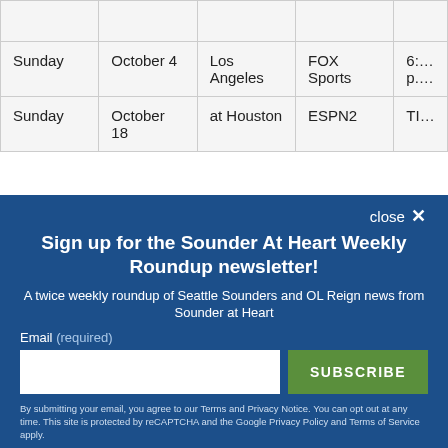| Day | Date | Location | Network | Time |
| --- | --- | --- | --- | --- |
|  |  |  |  |  |
| Sunday | October 4 | Los Angeles | FOX Sports | 6:... p.... |
| Sunday | October 18 | at Houston | ESPN2 | TI... |
Sign up for the Sounder At Heart Weekly Roundup newsletter!
A twice weekly roundup of Seattle Sounders and OL Reign news from Sounder at Heart
By submitting your email, you agree to our Terms and Privacy Notice. You can opt out at any time. This site is protected by reCAPTCHA and the Google Privacy Policy and Terms of Service apply.